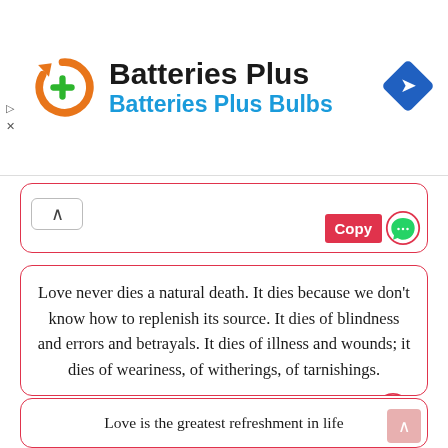[Figure (logo): Batteries Plus brand logo with orange circular arrow icon and green plus sign, brand name 'Batteries Plus' in black bold, subtitle 'Batteries Plus Bulbs' in blue bold, blue diamond navigation icon in top right]
Love never dies a natural death. It dies because we don't know how to replenish its source. It dies of blindness and errors and betrayals. It dies of illness and wounds; it dies of weariness, of witherings, of tarnishings.
Love is the greatest refreshment in life